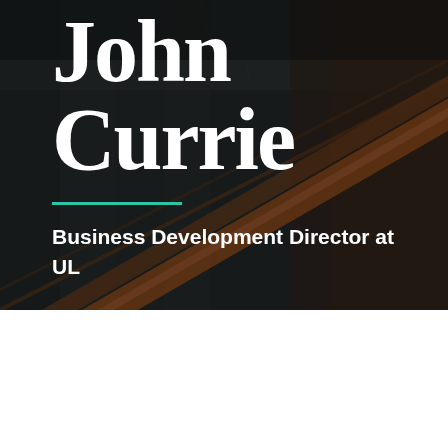[Figure (photo): Dark background with industrial structure/crane diagonal lines overlay, person silhouette on right side]
John Currie
Business Development Director at UL